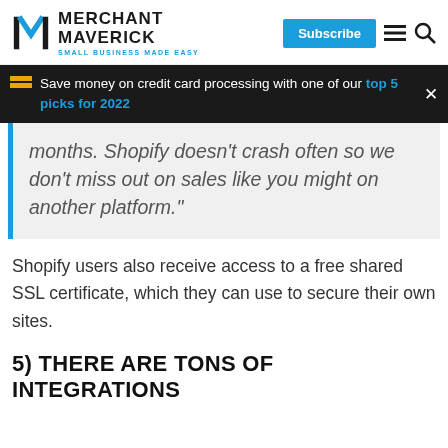MERCHANT MAVERICK | SMALL BUSINESS MADE EASY | Subscribe
Save money on credit card processing with one of our top 5 picks for 2022
months. Shopify doesn’t crash often so we don’t miss out on sales like you might on another platform.”
Shopify users also receive access to a free shared SSL certificate, which they can use to secure their own sites.
5) THERE ARE TONS OF INTEGRATIONS